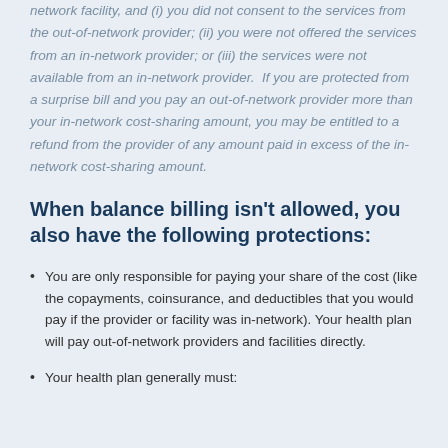network facility, and (i) you did not consent to the services from the out-of-network provider; (ii) you were not offered the services from an in-network provider; or (iii) the services were not available from an in-network provider. If you are protected from a surprise bill and you pay an out-of-network provider more than your in-network cost-sharing amount, you may be entitled to a refund from the provider of any amount paid in excess of the in-network cost-sharing amount.
When balance billing isn't allowed, you also have the following protections:
You are only responsible for paying your share of the cost (like the copayments, coinsurance, and deductibles that you would pay if the provider or facility was in-network). Your health plan will pay out-of-network providers and facilities directly.
Your health plan generally must: